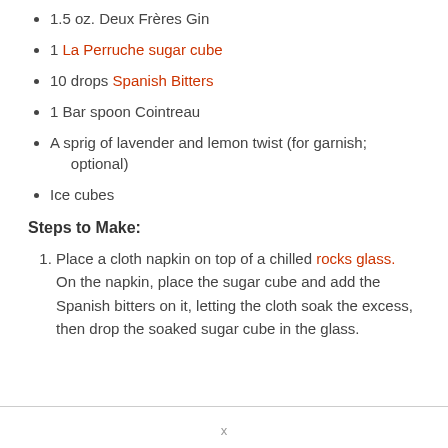1.5 oz. Deux Frères Gin
1 La Perruche sugar cube
10 drops Spanish Bitters
1 Bar spoon Cointreau
A sprig of lavender and lemon twist (for garnish; optional)
Ice cubes
Steps to Make:
Place a cloth napkin on top of a chilled rocks glass. On the napkin, place the sugar cube and add the Spanish bitters on it, letting the cloth soak the excess, then drop the soaked sugar cube in the glass.
x